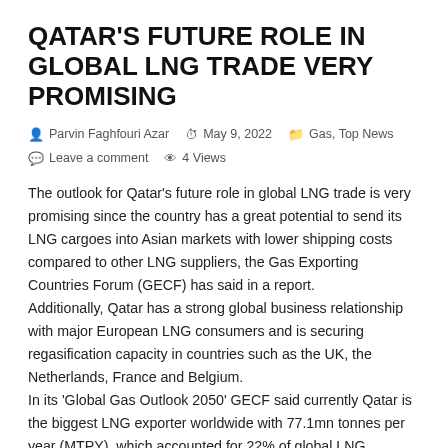QATAR'S FUTURE ROLE IN GLOBAL LNG TRADE VERY PROMISING
Parvin Faghfouri Azar  |  May 9, 2022  |  Gas, Top News  |  Leave a comment  |  4 Views
The outlook for Qatar's future role in global LNG trade is very promising since the country has a great potential to send its LNG cargoes into Asian markets with lower shipping costs compared to other LNG suppliers, the Gas Exporting Countries Forum (GECF) has said in a report.
Additionally, Qatar has a strong global business relationship with major European LNG consumers and is securing regasification capacity in countries such as the UK, the Netherlands, France and Belgium.
In its 'Global Gas Outlook 2050' GECF said currently Qatar is the biggest LNG exporter worldwide with 77.1mn tonnes per year (MTPY), which accounted for 22% of global LNG production in 2020. The country is the major supplier to Asian and European markets. Qatar is working to increase its liquefaction capacity to 126 MTPY by 2027. Post-2027, a further 55 MTPY of speculative LNG projects